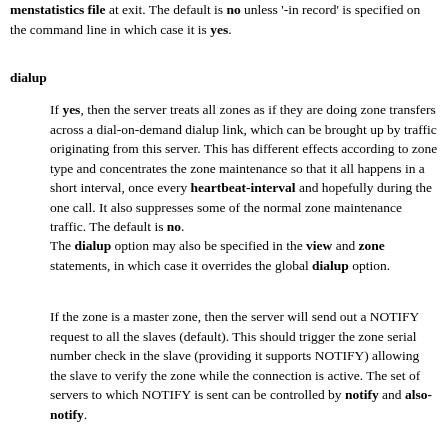menstatistics file at exit. The default is no unless '-in record' is specified on the command line in which case it is yes.
dialup
If yes, then the server treats all zones as if they are doing zone transfers across a dial-on-demand dialup link, which can be brought up by traffic originating from this server. This has different effects according to zone type and concentrates the zone maintenance so that it all happens in a short interval, once every heartbeat-interval and hopefully during the one call. It also suppresses some of the normal zone maintenance traffic. The default is no.
The dialup option may also be specified in the view and zone statements, in which case it overrides the global dialup option.
If the zone is a master zone, then the server will send out a NOTIFY request to all the slaves (default). This should trigger the zone serial number check in the slave (providing it supports NOTIFY) allowing the slave to verify the zone while the connection is active. The set of servers to which NOTIFY is sent can be controlled by notify and also-notify.